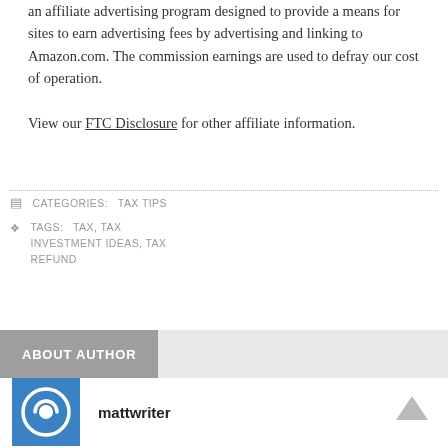an affiliate advertising program designed to provide a means for sites to earn advertising fees by advertising and linking to Amazon.com. The commission earnings are used to defray our cost of operation.
View our FTC Disclosure for other affiliate information.
CATEGORIES: TAX TIPS
TAGS: TAX, TAX INVESTMENT IDEAS, TAX REFUND
ABOUT AUTHOR
mattwriter